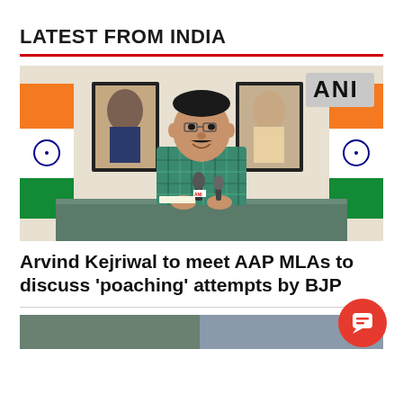LATEST FROM INDIA
[Figure (photo): ANI photo of Arvind Kejriwal seated at a desk, speaking at a press conference. Indian flags and portraits of B.R. Ambedkar and Bhagat Singh visible in background. ANI watermark in top right corner.]
Arvind Kejriwal to meet AAP MLAs to discuss 'poaching' attempts by BJP
[Figure (photo): Partial photo visible at bottom of page, cropped.]